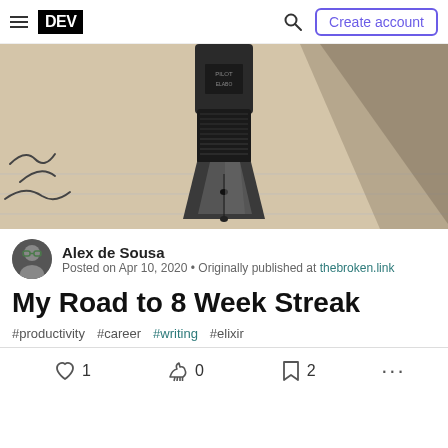DEV — Create account
[Figure (photo): Close-up photograph of a fountain pen nib writing on lined paper]
Alex de Sousa
Posted on Apr 10, 2020 • Originally published at thebroken.link
My Road to 8 Week Streak
#productivity #career #writing #elixir
1 reactions · 0 unicorn · 2 bookmarks